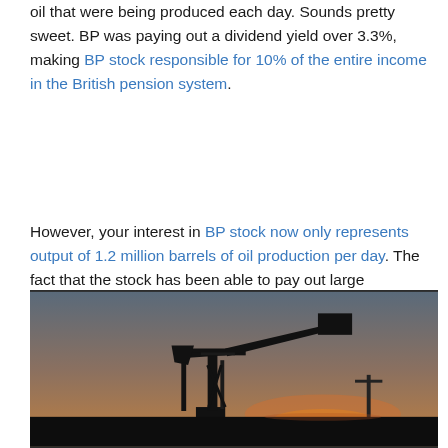oil that were being produced each day. Sounds pretty sweet. BP was paying out a dividend yield over 3.3%, making BP stock responsible for 10% of the entire income in the British pension system.
However, your interest in BP stock now only represents output of 1.2 million barrels of oil production per day. The fact that the stock has been able to pay out large dividends to shareholders, and generally retain its market value per share, is a testament to the strength of mega-capitalization enterprises.
[Figure (photo): Silhouette of an oil pump jack against a sunset sky, with utility poles visible in the background.]